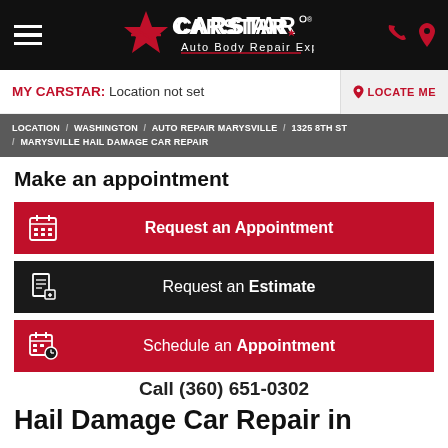CARSTAR Auto Body Repair Experts
MY CARSTAR: Location not set
LOCATE ME
LOCATION / WASHINGTON / AUTO REPAIR MARYSVILLE / 1325 8TH ST / MARYSVILLE HAIL DAMAGE CAR REPAIR
Make an appointment
Request an Appointment
Request an Estimate
Schedule an Appointment
Call (360) 651-0302
Hail Damage Car Repair in